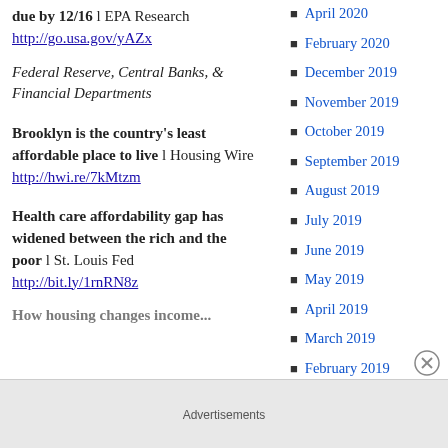due by 12/16 l EPA Research http://go.usa.gov/yAZx
Federal Reserve, Central Banks, & Financial Departments
Brooklyn is the country's least affordable place to live l Housing Wire http://hwi.re/7kMtzm
Health care affordability gap has widened between the rich and the poor l St. Louis Fed http://bit.ly/1rnRN8z
April 2020
February 2020
December 2019
November 2019
October 2019
September 2019
August 2019
July 2019
June 2019
May 2019
April 2019
March 2019
February 2019
January 2019
Advertisements